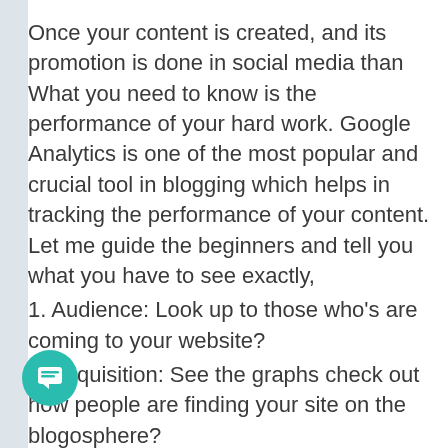Once your content is created, and its promotion is done in social media than What you need to know is the performance of your hard work. Google Analytics is one of the most popular and crucial tool in blogging which helps in tracking the performance of your content. Let me guide the beginners and tell you what you have to see exactly,
1. Audience: Look up to those who’s are coming to your website?
2. Acquisition: See the graphs check out how people are finding your site on the blogosphere?
3. Behaviour: What are the searching/reading on your blog?
For those who haven’t installed Google Analytics on their blog or website can visit...